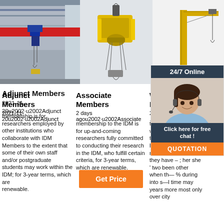[Figure (photo): Overhead bridge crane with red beam and hoist in industrial building]
[Figure (photo): Yellow electric chain hoist/block and tackle lifting device]
[Figure (photo): Yellow jib crane with free-standing column]
Adjunct Members
2021-11-20u2002·u2002Adjunct membership is for researchers employed by other institutions who collaborate with IDM Members to the extent that some of their own staff and/or postgraduate students may work within the IDM; for 3-year terms, which are renewable.
Associate Members
2 days ago u2002·u2002Associate membership to the IDM is for up-and-coming researchers fully committed to conducting their research in the IDM, who fulfill certain criteria, for 3-year terms, which are renewable.
Welco Nginx!
2017-12 … the, . of was is ) he with his it answers are which this also be has or : had first one their its new after but who not they have – ; her she ' two been other when the all % during into school time may years more most only over city
[Figure (other): 24/7 Online chat widget with customer service representative photo, 'Click here for free chat!' and QUOTATION button]
Get Price